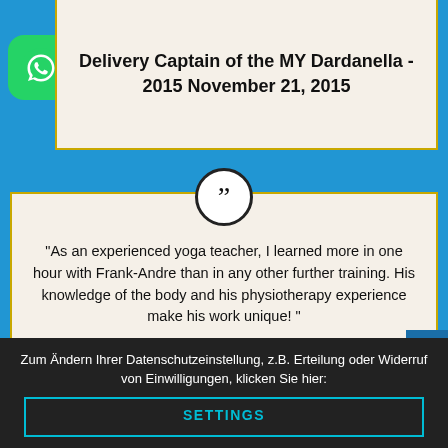Delivery Captain of the MY Dardanella - 2015 November 21, 2015
[Figure (logo): WhatsApp green app icon]
“As an experienced yoga teacher, I learned more in one hour with Frank-Andre than in any other further training. His knowledge of the body and his physiotherapy experience make his work unique! ”
Petra Knuf, 68
yoga instructor
Zum Ändern Ihrer Datenschutzeinstellung, z.B. Erteilung oder Widerruf von Einwilligungen, klicken Sie hier:
SETTINGS